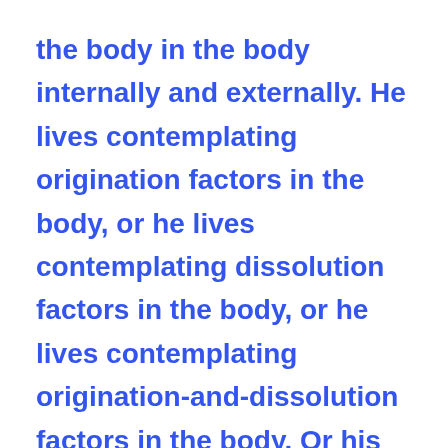the body in the body internally and externally. He lives contemplating origination factors in the body, or he lives contemplating dissolution factors in the body, or he lives contemplating origination-and-dissolution factors in the body. Or his mindfulness is established with the thought: 'The